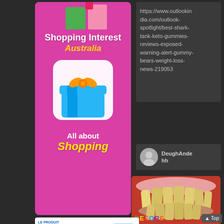[Figure (illustration): Pink shopping interest Australia advertisement with gift box icon, text 'Shopping Interest Australia' and 'All about Shopping']
https://www.outlookindia.com/outlook-spotlight/best-shark-tank-keto-gummies-reviews-exposed-warning-alert-gummy-bears-weight-loss-news-219053
DeughAndehh
[Figure (photo): Before and after dental/teeth comparison photo showing teeth before and after treatment]
[Figure (photo): ViaKeto capsules advertisement with text LE PRODUIT VIAKETO CAPSULES LE PLUS PUISSANT SELS DE BHB CÉTO À SPECTRE COMPLET and price $00]